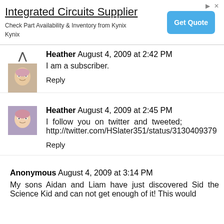[Figure (screenshot): Advertisement banner for Integrated Circuits Supplier - Kynix, with Get Quote button]
Heather August 4, 2009 at 2:42 PM
I am a subscriber.
Reply
Heather August 4, 2009 at 2:45 PM
I follow you on twitter and tweeted; http://twitter.com/HSlater351/status/3130409379
Reply
Anonymous August 4, 2009 at 3:14 PM
My sons Aidan and Liam have just discovered Sid the Science Kid and can not get enough of it! This would